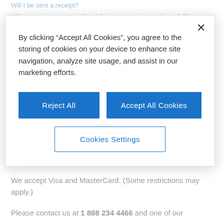Will I be sent a receipt?
Who can I contact with additional questions about billing
By clicking "Accept All Cookies", you agree to the storing of cookies on your device to enhance site navigation, analyze site usage, and assist in our marketing efforts.
Reject All
Accept All Cookies
Cookies Settings
Which credit cards do you accept?
We accept Visa and MasterCard. (Some restrictions may apply.)
Please contact us at 1 888 234 4466 and one of our